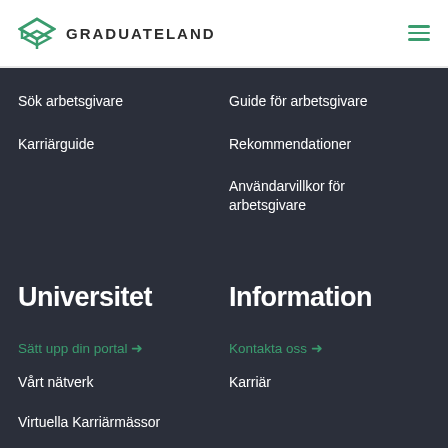GRADUATELAND
Sök arbetsgivare
Guide för arbetsgivare
Karriärguide
Rekommendationer
Användarvillkor för arbetsgivare
Universitet
Information
Sätt upp din portal →
Kontakta oss →
Vårt nätverk
Karriär
Virtuella Karriärmässor